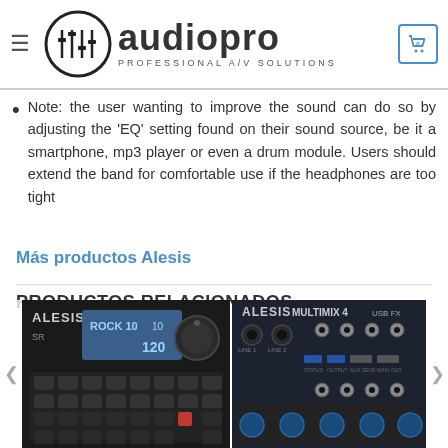AudioPro Professional A/V Solutions
Note: the user wanting to improve the sound can do so by adjusting the 'EQ' setting found on their sound source, be it a smartphone, mp3 player or even a drum module. Users should extend the band for comfortable use if the headphones are too tight
Más productos Alesis
PRODUCTOS RELACIONADOS
[Figure (photo): Alesis SR drum machine product photo]
[Figure (photo): Alesis Multimix 4 USB FX mixer product photo]